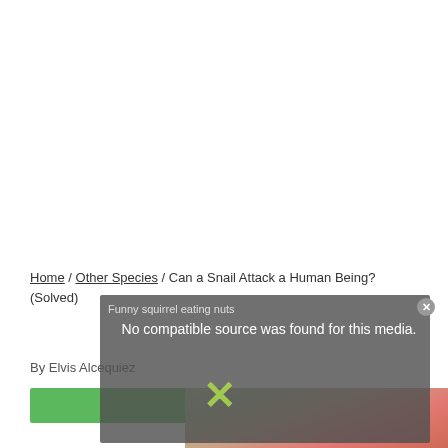Home / Other Species / Can a Snail Attack a Human Being? (Solved)
By Elvis Alcequiez
[Figure (screenshot): Video overlay with title 'Funny squirrel eating nuts' and message 'No compatible source was found for this media.' with a close button and X symbol, overlaid on a photo of a snail on a red surface. A green button bar is partially visible at the bottom left.]